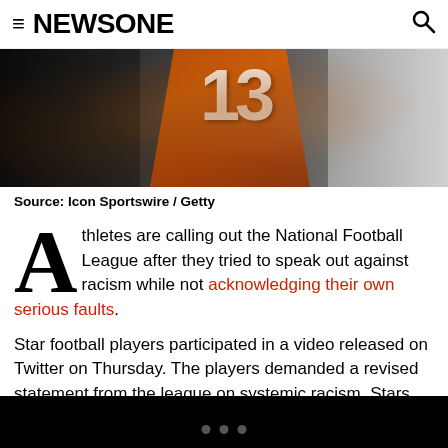≡ NEWSONE 🔍
[Figure (photo): Football player wearing orange jersey with number 13, photographers visible on sideline, another player in white jersey on right]
Source: Icon Sportswire / Getty
Athletes are calling out the National Football League after they tried to speak out against racism while not acknowledging their own serious faults.
Star football players participated in a video released on Twitter on Thursday. The players demanded a revised statement from the league on systemic racism. Stars like Odell Beckham Jr., Saquon Barkley, Tyrann Mathieu,